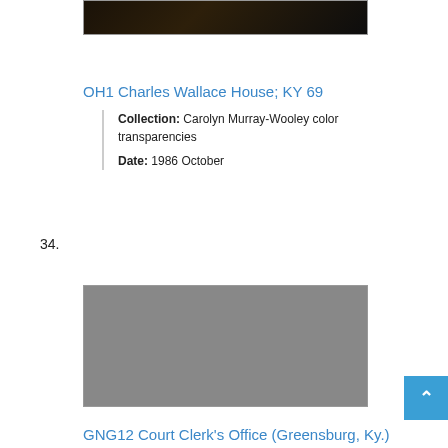[Figure (photo): Dark photograph, partially visible at top of page, showing indistinct dark scene.]
OH1 Charles Wallace House; KY 69
Collection: Carolyn Murray-Wooley color transparencies
Date: 1986 October
34.
[Figure (photo): Gray placeholder image for item 34.]
GNG12 Court Clerk's Office (Greensburg, Ky.)